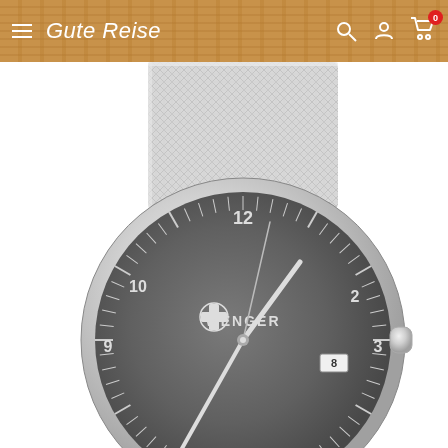Gute Reise
[Figure (photo): Wenger watch with silver mesh band and dark gray dial, showing numerals 12, 2, 3, 9, 10 and Wenger logo with cross. Date window at 3 o'clock position showing 8.]